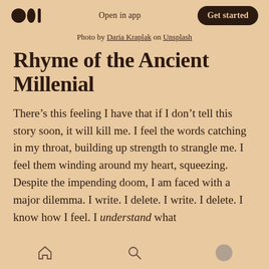Open in app  Get started
Photo by Daria Kraplak on Unsplash
Rhyme of the Ancient Millenial
There’s this feeling I have that if I don’t tell this story soon, it will kill me. I feel the words catching in my throat, building up strength to strangle me. I feel them winding around my heart, squeezing. Despite the impending doom, I am faced with a major dilemma. I write. I delete. I write. I delete. I know how I feel. I understand what